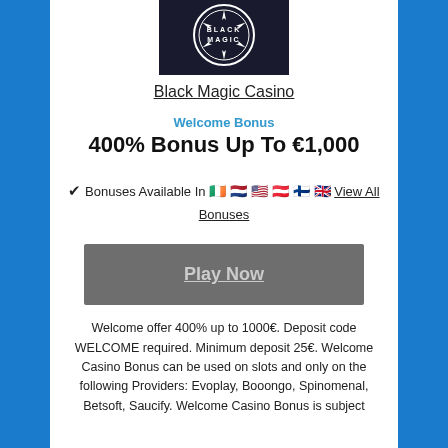[Figure (logo): Black Magic Casino logo — dark circular badge with 'MAGIC' text]
Black Magic Casino
Welcome Bonus
400% Bonus Up To €1,000
✔ Bonuses Available In 🇮🇪 🇳🇱 🇺🇸 🇦🇹 🇫🇮 🇬🇧 View All Bonuses
Play Now
Welcome offer 400% up to 1000€. Deposit code WELCOME required. Minimum deposit 25€. Welcome Casino Bonus can be used on slots and only on the following Providers: Evoplay, Booongo, Spinomenal, Betsoft, Saucify. Welcome Casino Bonus is subject